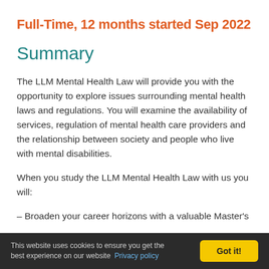Full-Time, 12 months started Sep 2022
Summary
The LLM Mental Health Law will provide you with the opportunity to explore issues surrounding mental health laws and regulations. You will examine the availability of services, regulation of mental health care providers and the relationship between society and people who live with mental disabilities.
When you study the LLM Mental Health Law with us you will:
– Broaden your career horizons with a valuable Master's
This website uses cookies to ensure you get the best experience on our website  Privacy policy  Got it!